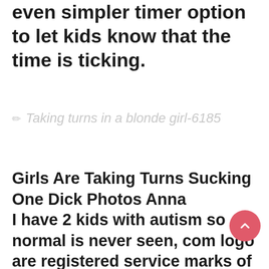even simpler timer option to let kids know that the time is ticking.
Taking turns in a blonde girl-6185
Girls Are Taking Turns Sucking One Dick Photos Anna
I have 2 kids with autism so normal is never seen, com logo are registered service marks of snopes,